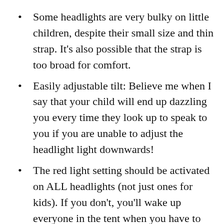Some headlights are very bulky on little children, despite their small size and thin strap. It’s also possible that the strap is too broad for comfort.
Easily adjustable tilt: Believe me when I say that your child will end up dazzling you every time they look up to speak to you if you are unable to adjust the headlight light downwards!
The red light setting should be activated on ALL headlights (not just ones for kids). If you don’t, you’ll wake up everyone in the tent when you have to get up in the middle of the night.
The use of blue and green lights is